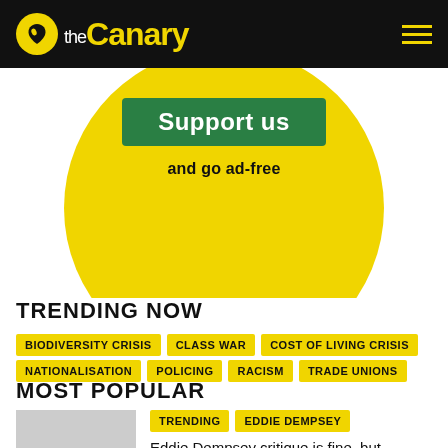the Canary
[Figure (illustration): Yellow circle with green 'Support us' button and 'and go ad-free' text below]
TRENDING NOW
BIODIVERSITY CRISIS
CLASS WAR
COST OF LIVING CRISIS
NATIONALISATION
POLICING
RACISM
TRADE UNIONS
MOST POPULAR
TRENDING  EDDIE DEMPSEY
Eddie Dempsey critique is fine, but withdrawing support for workers over him is telling on yourself